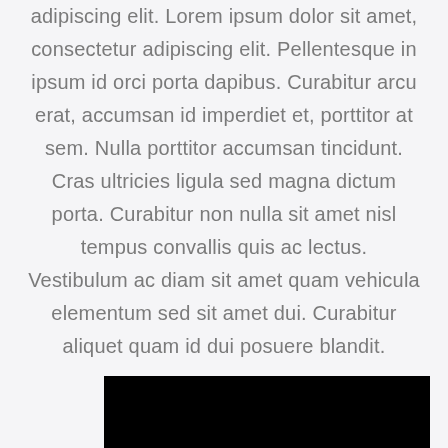adipiscing elit. Lorem ipsum dolor sit amet, consectetur adipiscing elit. Pellentesque in ipsum id orci porta dapibus. Curabitur arcu erat, accumsan id imperdiet et, porttitor at sem. Nulla porttitor accumsan tincidunt. Cras ultricies ligula sed magna dictum porta. Curabitur non nulla sit amet nisl tempus convallis quis ac lectus. Vestibulum ac diam sit amet quam vehicula elementum sed sit amet dui. Curabitur aliquet quam id dui posuere blandit.
[Figure (other): Black rectangular bar at the bottom of the page]